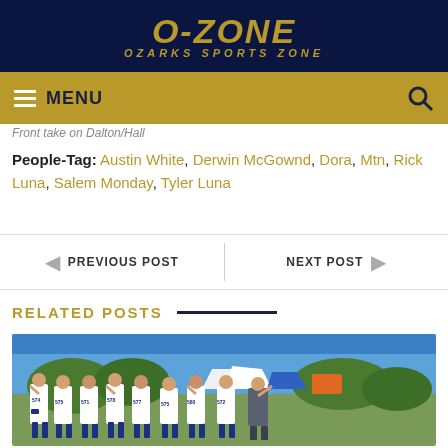O-ZONE OZARKS SPORTS ZONE
MENU
Front take on Dalton/Hall
People-Tag: Austin White, Derwin McGownd, Dora, Mtn, Rick Luna, Salem Monday, Tyler Luna
PREVIOUS POST
NEXT POST
RELATED POSTS
[Figure (photo): Group photo of cross country runners in white uniforms with race bibs numbered 574, 575, 571, 578, 577, 575, 580, 572, celebrating outdoors with blue sky and trees in background]